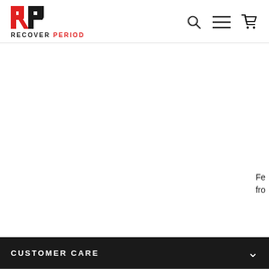RECOVER PERIOD — navigation header with logo, search, menu, and cart icons
[Figure (logo): Recover Period logo: red and black RP monogram above text 'RECOVER PERIOD' in bold black and red]
Fe
fro
CUSTOMER CARE